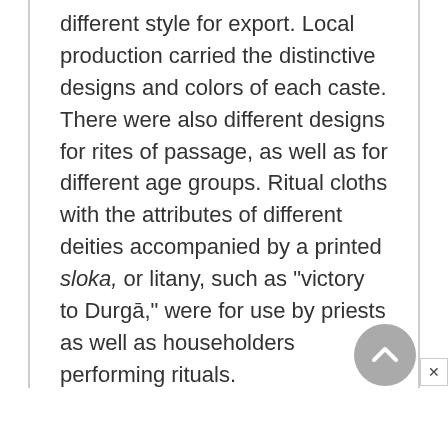different style for export. Local production carried the distinctive designs and colors of each caste. There were also different designs for rites of passage, as well as for different age groups. Ritual cloths with the attributes of different deities accompanied by a printed sloka, or litany, such as "victory to Durgā," were for use by priests as well as householders performing rituals.